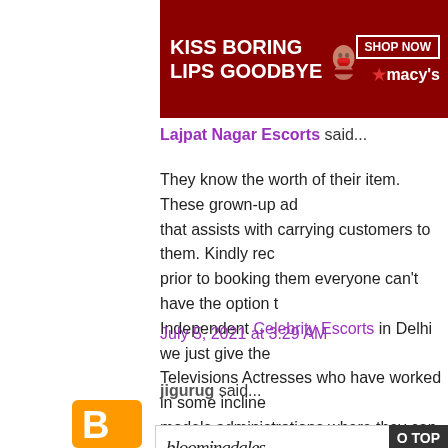[Figure (photo): Macy's advertisement banner: 'KISS BORING LIPS GOODBYE' with SHOP NOW button on dark red background with woman's face showing red lips]
Lajpat Nagar Escorts said...
They know the worth of their item. These grown-up ad that assists with carrying customers to them. Kindly rec prior to booking them everyone can't have the option t Independent Celebrity Escorts in Delhi we just give the Televisions Actresses who have worked in some incline models administrations where they can bring in cash wh least expensive and most minimal rate Delhi Celebrity kindly reach us without burning through your quality tim
July 5, 2021 at 3:29 AM
jigurug said...
[Figure (photo): Bloomingdale's advertisement: 'View Today's Top Deals!' with woman in hat, SHOP NOW button]
CLOSE
O TOP